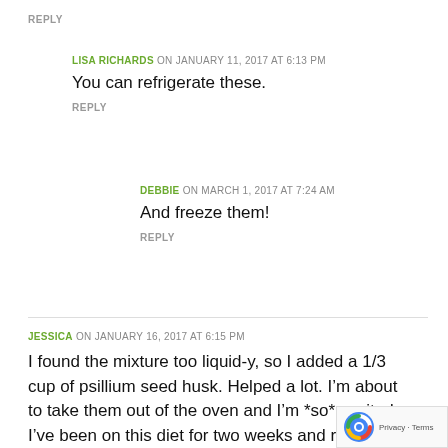REPLY
LISA RICHARDS ON JANUARY 11, 2017 AT 6:13 PM
You can refrigerate these.
REPLY
DEBBIE ON MARCH 1, 2017 AT 7:24 AM
And freeze them!
REPLY
JESSICA ON JANUARY 16, 2017 AT 6:15 PM
I found the mixture too liquid-y, so I added a 1/3 cup of psillium seed husk. Helped a lot. I’m about to take them out of the oven and I’m *so* excited. I’ve been on this diet for two weeks and really need to start mixing it up so I do get bored and quit. These recipes really help a